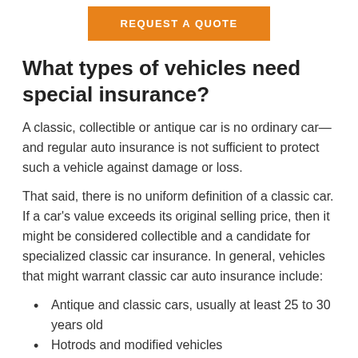[Figure (other): Orange 'REQUEST A QUOTE' button]
What types of vehicles need special insurance?
A classic, collectible or antique car is no ordinary car—and regular auto insurance is not sufficient to protect such a vehicle against damage or loss.
That said, there is no uniform definition of a classic car. If a car's value exceeds its original selling price, then it might be considered collectible and a candidate for specialized classic car insurance. In general, vehicles that might warrant classic car auto insurance include:
Antique and classic cars, usually at least 25 to 30 years old
Hotrods and modified vehicles
Exotic and luxury autos—think James Bond